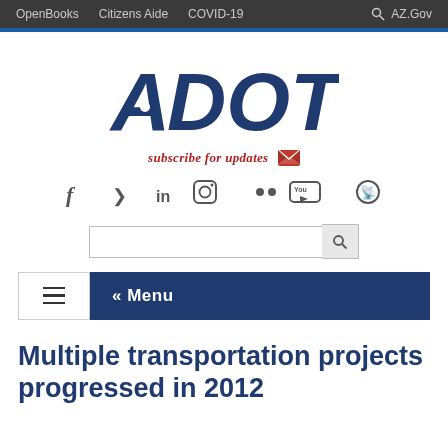OpenBooks   Citizens Aide   COVID-19   AZ.Gov
[Figure (logo): ADOT logo in dark navy blue bold italic letters]
subscribe for updates
[Figure (infographic): Social media icons: Facebook, Twitter, LinkedIn, Instagram, Flickr, YouTube, Podcast]
[Figure (infographic): Search bar with search button]
« Menu
Multiple transportation projects progressed in 2012